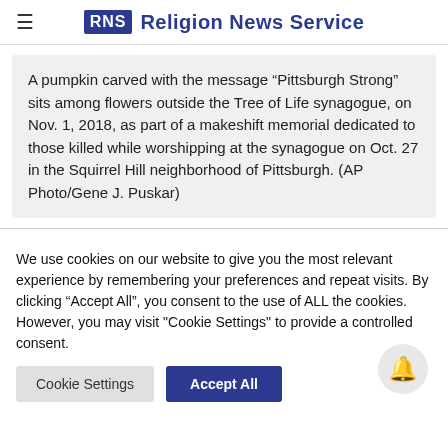RNS Religion News Service
A pumpkin carved with the message “Pittsburgh Strong” sits among flowers outside the Tree of Life synagogue, on Nov. 1, 2018, as part of a makeshift memorial dedicated to those killed while worshipping at the synagogue on Oct. 27 in the Squirrel Hill neighborhood of Pittsburgh. (AP Photo/Gene J. Puskar)
We use cookies on our website to give you the most relevant experience by remembering your preferences and repeat visits. By clicking “Accept All”, you consent to the use of ALL the cookies. However, you may visit "Cookie Settings" to provide a controlled consent.